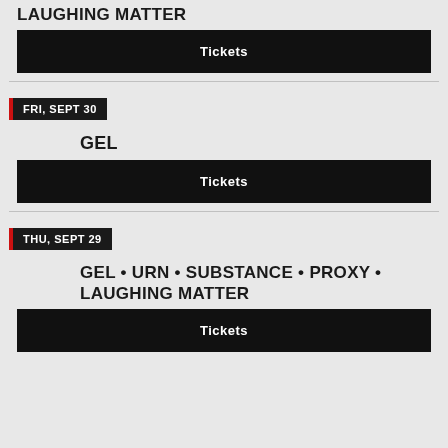GEL • SUBSTANCE • URN • PROXY • LAUGHING MATTER
Tickets
FRI, SEPT 30
GEL
Tickets
THU, SEPT 29
GEL • URN • SUBSTANCE • PROXY • LAUGHING MATTER
Tickets